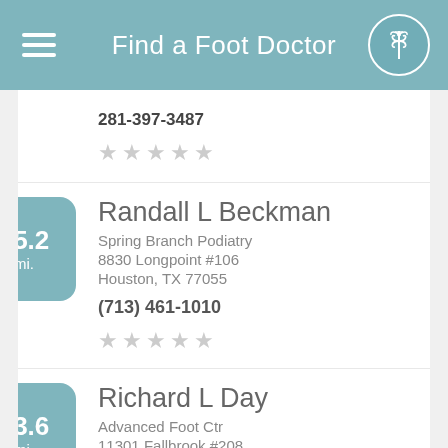Find a Foot Doctor
281-397-3487
★★★★★ (0 stars)
Randall L Beckman
Spring Branch Podiatry
8830 Longpoint #106
Houston, TX 77055
(713) 461-1010
★★★★★ (0 stars)
Richard L Day
Advanced Foot Ctr
11301 Fallbrook #208
Houston, TX 77065